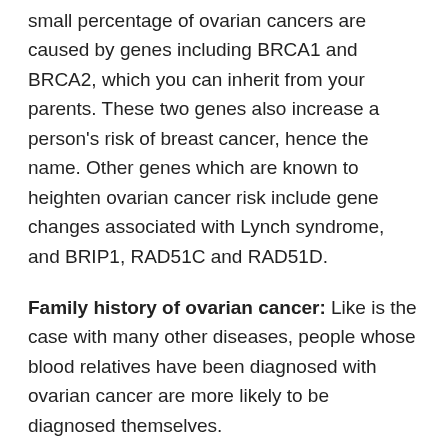small percentage of ovarian cancers are caused by genes including BRCA1 and BRCA2, which you can inherit from your parents. These two genes also increase a person's risk of breast cancer, hence the name. Other genes which are known to heighten ovarian cancer risk include gene changes associated with Lynch syndrome, and BRIP1, RAD51C and RAD51D.
Family history of ovarian cancer: Like is the case with many other diseases, people whose blood relatives have been diagnosed with ovarian cancer are more likely to be diagnosed themselves.
Being overweight or obese: Those with a higher BMI are at an increased risk of developing many cancers, including ovarian cancer,